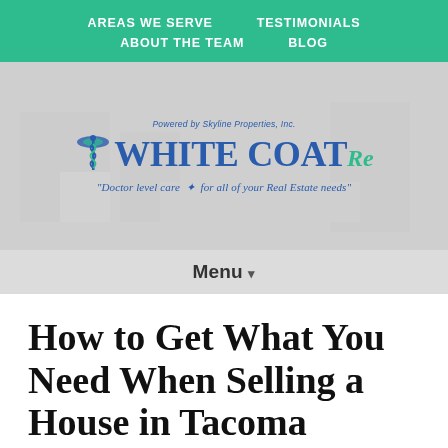AREAS WE SERVE   TESTIMONIALS   ABOUT THE TEAM   BLOG
[Figure (logo): White Coat RE logo with caduceus symbol. Powered by Skyline Properties, Inc. Tagline: Doctor level care for all of your Real Estate needs]
Menu ▾
How to Get What You Need When Selling a House in Tacoma